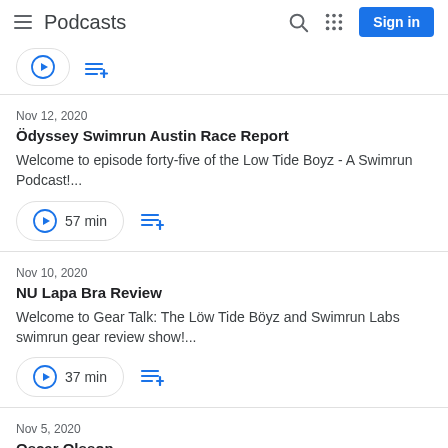Podcasts
Nov 12, 2020 — Ödyssey Swimrun Austin Race Report — Welcome to episode forty-five of the Low Tide Boyz - A Swimrun Podcast!... — 57 min
Nov 10, 2020 — NU Lapa Bra Review — Welcome to Gear Talk: The Löw Tide Böyz and Swimrun Labs swimrun gear review show!... — 37 min
Nov 5, 2020 — Oscar Olsson